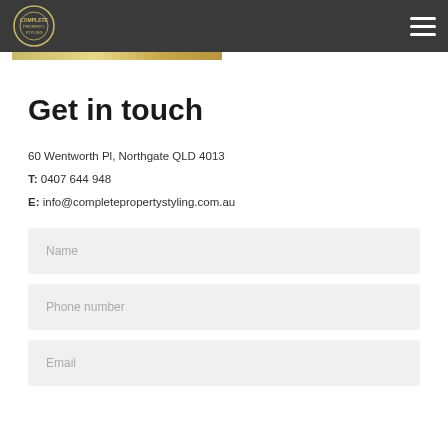Complete Property Styling — navigation header
Get in touch
60 Wentworth Pl, Northgate QLD 4013
T: 0407 644 948
E: info@completepropertystyling.com.au
Name
Phone number
Email